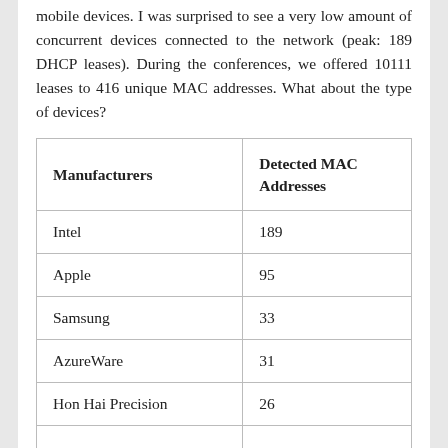mobile devices. I was surprised to see a very low amount of concurrent devices connected to the network (peak: 189 DHCP leases). During the conferences, we offered 10111 leases to 416 unique MAC addresses. What about the type of devices?
| Manufacturers | Detected MAC Addresses |
| --- | --- |
| Intel | 189 |
| Apple | 95 |
| Samsung | 33 |
| AzureWare | 31 |
| Hon Hai Precision | 26 |
| ... | ... |